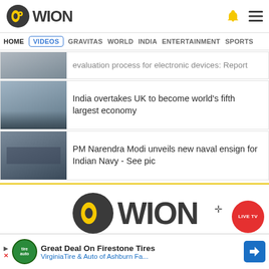[Figure (logo): WION news website header with logo, bell icon, and hamburger menu]
HOME | VIDEOS | GRAVITAS | WORLD | INDIA | ENTERTAINMENT | SPORTS
evaluation process for electronic devices: Report
India overtakes UK to become world's fifth largest economy
PM Narendra Modi unveils new naval ensign for Indian Navy - See pic
[Figure (logo): WION large footer logo]
Advertise with us   About Us   Privacy Po...
Great Deal On Firestone Tires  VirginiaTire & Auto of Ashburn Fa..